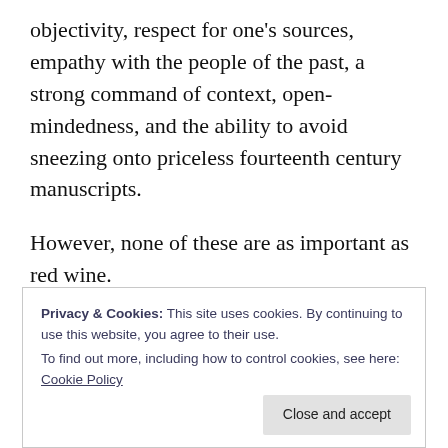objectivity, respect for one's sources, empathy with the people of the past, a strong command of context, open-mindedness, and the ability to avoid sneezing onto priceless fourteenth century manuscripts.
However, none of these are as important as red wine.
Of course, it is usually impossible to consume
Privacy & Cookies: This site uses cookies. By continuing to use this website, you agree to their use.
To find out more, including how to control cookies, see here: Cookie Policy